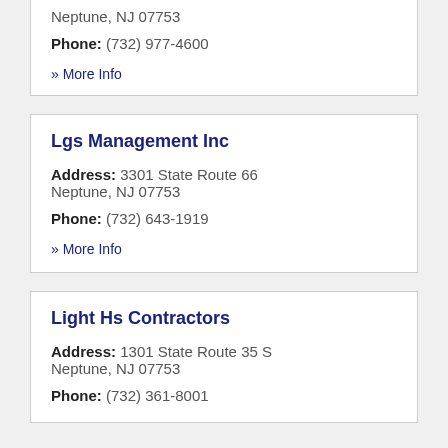Neptune, NJ 07753
Phone: (732) 977-4600
» More Info
Lgs Management Inc
Address: 3301 State Route 66 Neptune, NJ 07753
Phone: (732) 643-1919
» More Info
Light Hs Contractors
Address: 1301 State Route 35 S Neptune, NJ 07753
Phone: (732) 361-8001